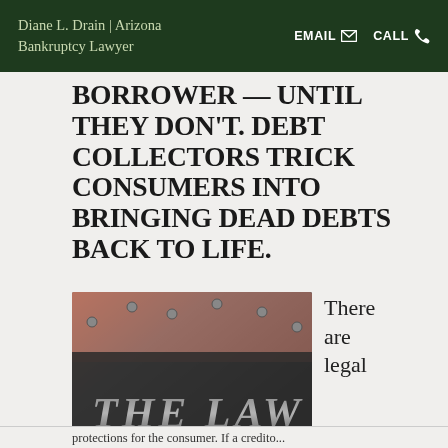Diane L. Drain | Arizona Bankruptcy Lawyer  EMAIL  CALL
BORROWER — UNTIL THEY DON'T. DEBT COLLECTORS TRICK CONSUMERS INTO BRINGING DEAD DEBTS BACK TO LIFE.
[Figure (photo): Close-up photo of a metallic sign reading 'THE LAW' with raised letters on a dark background with rivets]
There are legal
protections for the consumer. If a creditor...